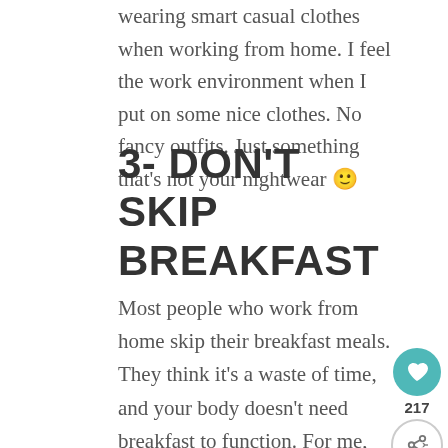wearing smart casual clothes when working from home. I feel the work environment when I put on some nice clothes. No fancy outfits. Just something that's not your nightwear 🙂
3- DON'T SKIP BREAKFAST
Most people who work from home skip their breakfast meals. They think it's a waste of time, and your body doesn't need breakfast to function. For me, it's a must-have morning meal. I might take it after 2 h of waking up but I never skip breakfast. my jumbo cup of tea.
[Figure (infographic): Social sharing sidebar with heart icon (teal circle), count 217, and share icon. Also a 'What's Next' widget showing '23 Must-Follow Affili...' with a small thumbnail image.]